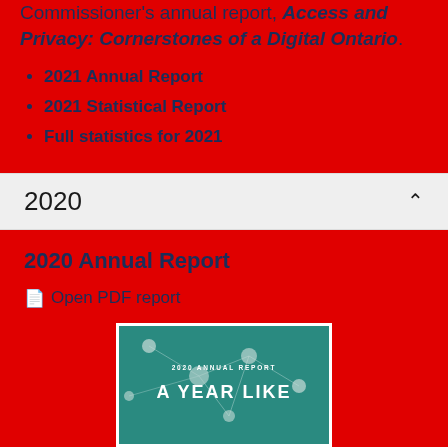Commissioner's annual report, Access and Privacy: Cornerstones of a Digital Ontario.
2021 Annual Report
2021 Statistical Report
Full statistics for 2021
2020
2020 Annual Report
Open PDF report
[Figure (photo): Cover of the 2020 Annual Report titled 'A YEAR LIKE' on a teal/green background with network node graphics]